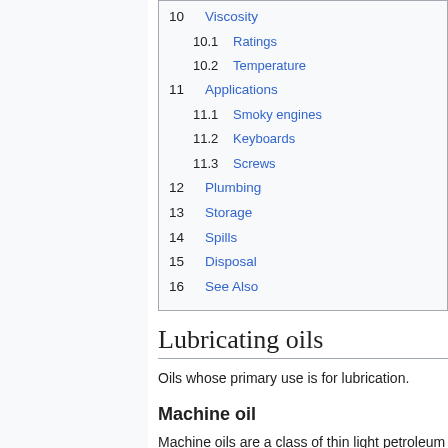10 Viscosity
10.1 Ratings
10.2 Temperature
11 Applications
11.1 Smoky engines
11.2 Keyboards
11.3 Screws
12 Plumbing
13 Storage
14 Spills
15 Disposal
16 See Also
Lubricating oils
Oils whose primary use is for lubrication.
Machine oil
Machine oils are a class of thin light petroleum oils used for undemanding